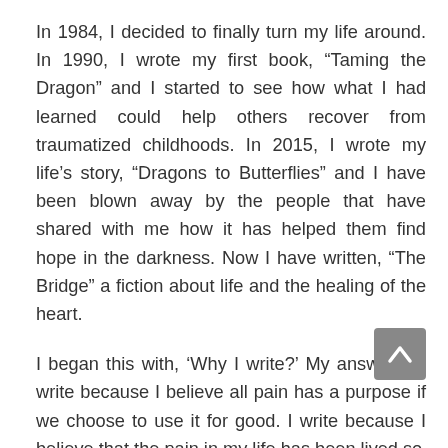In 1984, I decided to finally turn my life around. In 1990, I wrote my first book, “Taming the Dragon” and I started to see how what I had learned could help others recover from traumatized childhoods. In 2015, I wrote my life’s story, “Dragons to Butterflies” and I have been blown away by the people that have shared with me how it has helped them find hope in the darkness. Now I have written, “The Bridge” a fiction about life and the healing of the heart.
I began this with, ‘Why I write?’ My answer… I write because I believe all pain has a purpose if we choose to use it for good. I write because I believe that the pain in my life has been lived so